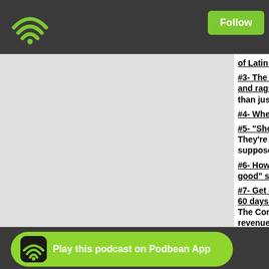[Figure (logo): Podbean wifi/podcast logo in green on dark background top left]
Follow
#2- of Latin American "Farmacias"
#3- The unsaid truth about tourist trail English rags: Do check them out, but beware… than just a little grain of salt… here's why…
#4- When Gringos gouge Gringos: PART 2
#5- "Shotgun Rent-a-Cops": They're everywhere in Latin America, even a supposedly as crime deterrents, but are the
#6- How to spot dubious "new age" woo wo good" sessions that are really rip-offs desig
#7- Get a 100% legal (and well respected) 2nd passport in 60 days! The Corona virus has killed Latin American revenues have dried up. Governments are b reacted by offering passport by investment best legit one. Amazingly, you can apply on flying back and forth to the country. That's a email; theexpatfiles@gmail.com and/or liste ram aired on
#8- Do you want to get into Crypto currenc
Play this podcast on Podbean App